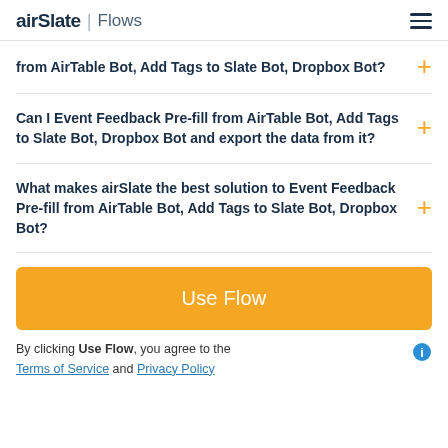airSlate | Flows
from AirTable Bot, Add Tags to Slate Bot, Dropbox Bot?
Can I Event Feedback Pre-fill from AirTable Bot, Add Tags to Slate Bot, Dropbox Bot and export the data from it?
What makes airSlate the best solution to Event Feedback Pre-fill from AirTable Bot, Add Tags to Slate Bot, Dropbox Bot?
Use Flow
By clicking Use Flow, you agree to the Terms of Service and Privacy Policy